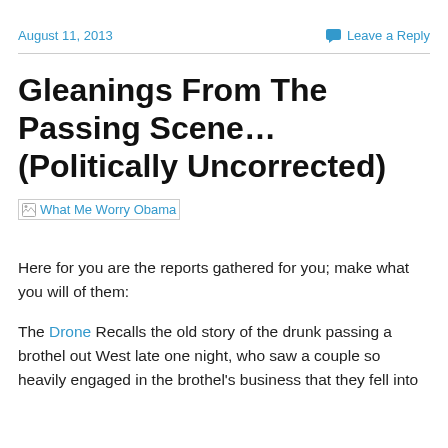August 11, 2013    Leave a Reply
Gleanings From The Passing Scene…(Politically Uncorrected)
[Figure (illustration): Broken image placeholder with alt text 'What Me Worry Obama' shown as a link in blue text]
Here for you are the reports gathered for you; make what you will of them:
The Drone Recalls the old story of the drunk passing a brothel out West late one night, who saw a couple so heavily engaged in the brothel's business that they fell into